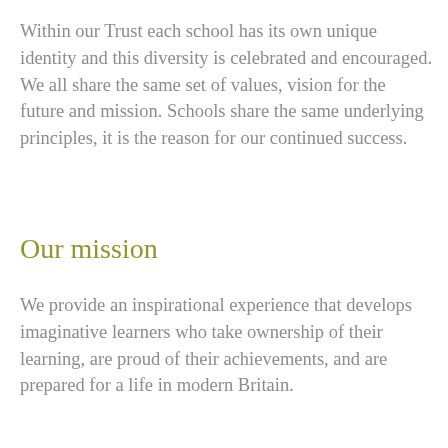Within our Trust each school has its own unique identity and this diversity is celebrated and encouraged. We all share the same set of values, vision for the future and mission. Schools share the same underlying principles, it is the reason for our continued success.
Our mission
We provide an inspirational experience that develops imaginative learners who take ownership of their learning, are proud of their achievements, and are prepared for a life in modern Britain.